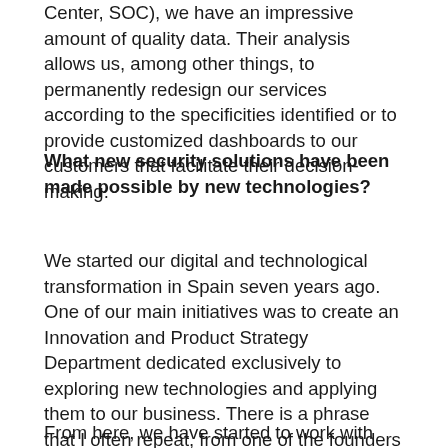Center, SOC), we have an impressive amount of quality data. Their analysis allows us, among other things, to permanently redesign our services according to the specificities identified or to provide customized dashboards to our customers that facilitate their decision-making.
What new security solutions have been made possible by new technologies?
We started our digital and technological transformation in Spain seven years ago. One of our main initiatives was to create an Innovation and Product Strategy Department dedicated exclusively to exploring new technologies and applying them to our business. There is a phrase that I often repeat, from one of the founders of Apple, who said that “either you are different or the market forces you to sell cheap.” In the market we are in there is very limited supply, so we decided to create this department in order to add value to our offering.
From here, we have started to work with technologies such as artificial intelligence, which are of great use and